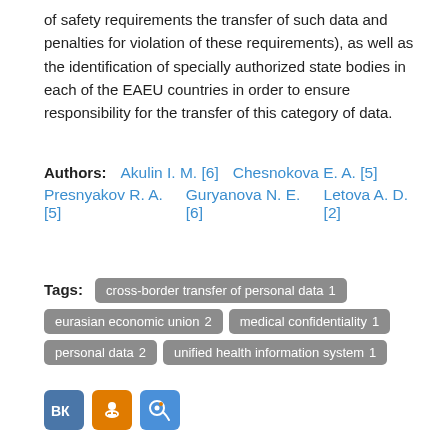of safety requirements the transfer of such data and penalties for violation of these requirements), as well as the identification of specially authorized state bodies in each of the EAEU countries in order to ensure responsibility for the transfer of this category of data.
Authors: Akulin I. M. [6]   Chesnokova E. A. [5]   Presnyakov R. A. [5]   Guryanova N. E. [6]   Letova A. D. [2]
Tags: cross-border transfer of personal data 1   eurasian economic union 2   medical confidentiality 1   personal data 2   unified health information system 1
[Figure (other): Social media share buttons: VKontakte (VK), Odnoklassniki (OK), and a smiley/mail icon, displayed as colored square buttons.]